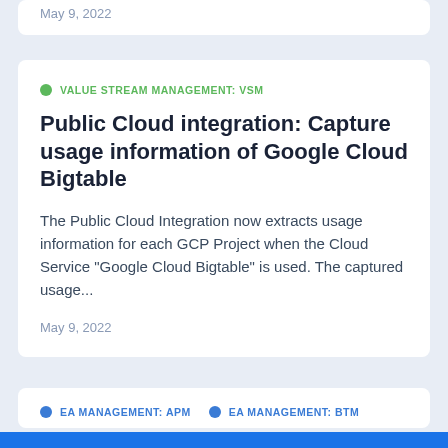May 9, 2022
VALUE STREAM MANAGEMENT: VSM
Public Cloud integration: Capture usage information of Google Cloud Bigtable
The Public Cloud Integration now extracts usage information for each GCP Project when the Cloud Service “Google Cloud Bigtable” is used. The captured usage…
May 9, 2022
EA MANAGEMENT: APM
EA MANAGEMENT: BTM